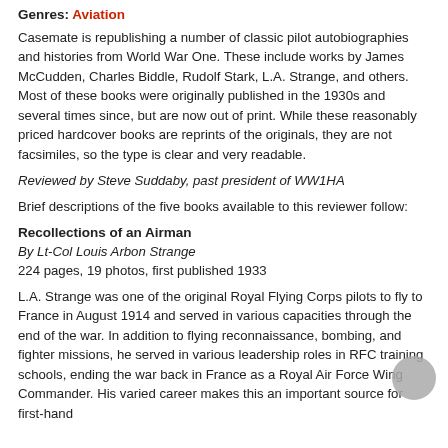Genres: Aviation
Casemate is republishing a number of classic pilot autobiographies and histories from World War One. These include works by James McCudden, Charles Biddle, Rudolf Stark, L.A. Strange, and others. Most of these books were originally published in the 1930s and several times since, but are now out of print. While these reasonably priced hardcover books are reprints of the originals, they are not facsimiles, so the type is clear and very readable.
Reviewed by Steve Suddaby, past president of WW1HA
Brief descriptions of the five books available to this reviewer follow:
Recollections of an Airman
By Lt-Col Louis Arbon Strange
224 pages, 19 photos, first published 1933
L.A. Strange was one of the original Royal Flying Corps pilots to fly to France in August 1914 and served in various capacities through the end of the war. In addition to flying reconnaissance, bombing, and fighter missions, he served in various leadership roles in RFC training schools, ending the war back in France as a Royal Air Force Wing Commander. His varied career makes this an important source for first-hand